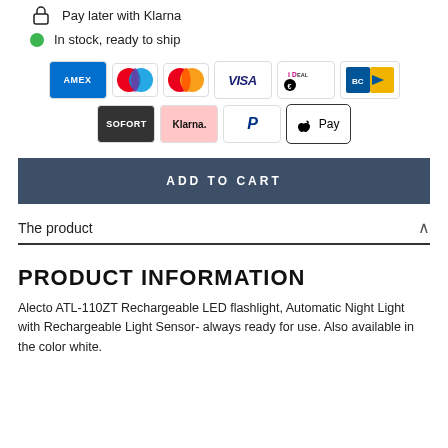Pay later with Klarna
In stock, ready to ship
[Figure (infographic): Row of payment method logos: AMEX, Maestro, Mastercard, VISA, iDEAL, Bancontact, SOFORT, Klarna, PayPal, Apple Pay]
ADD TO CART
The product
PRODUCT INFORMATION
Alecto ATL-110ZT Rechargeable LED flashlight, Automatic Night Light with Rechargeable Light Sensor- always ready for use. Also available in the color white.